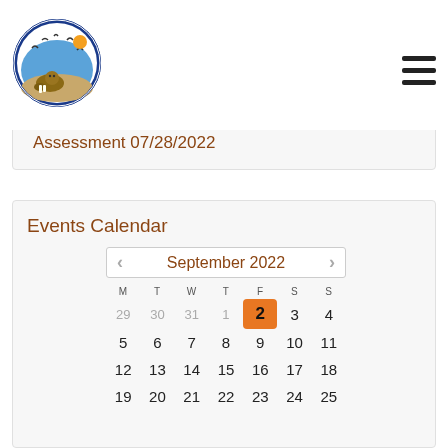[Figure (logo): Association of Village Council Presidents circular logo with wildlife imagery including a walrus and birds]
Assessment 07/28/2022
Events Calendar
| M | T | W | T | F | S | S |
| --- | --- | --- | --- | --- | --- | --- |
| 29 | 30 | 31 | 1 | 2 | 3 | 4 |
| 5 | 6 | 7 | 8 | 9 | 10 | 11 |
| 12 | 13 | 14 | 15 | 16 | 17 | 18 |
| 19 | 20 | 21 | 22 | 23 | 24 | 25 |